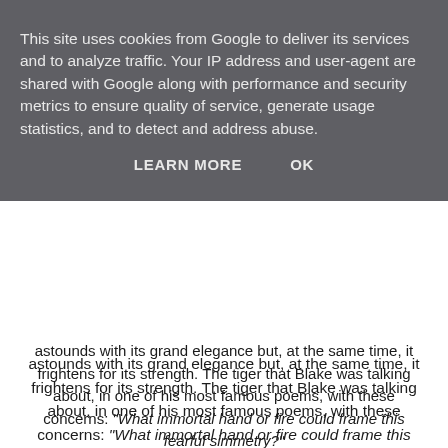This site uses cookies from Google to deliver its services and to analyze traffic. Your IP address and user-agent are shared with Google along with performance and security metrics to ensure quality of service, generate usage statistics, and to detect and address abuse.
LEARN MORE    OK
astounds with its grand elegance but, at the same time, it frightens for its strength. The tiger that Blake was talking about, in one of his most famous poems, with these concerns: "What immortal hand or fire could frame this fearful simmetry?"
And just as Blake asked, at times I ask myself how can be possible similar manifestations of grace and power, then, thinking back to those women of past ages and what we have become, I simply say: "that's how!"
Le donne forti, quelle di carattere per intenderci, hanno sempre suscitato grande fascino agli occhi di quella che era poco più che una principessina. Donne esili fisicamente ma con menti super fini, donne che, con il loro savoir faire,